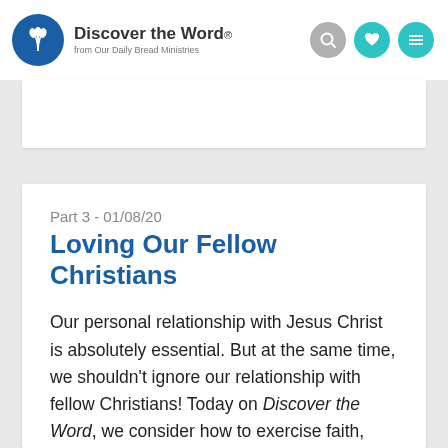Discover the Word. from Our Daily Bread Ministries
Part 3 - 01/08/20
Loving Our Fellow Christians
Our personal relationship with Jesus Christ is absolutely essential. But at the same time, we shouldn’t ignore our relationship with fellow Christians! Today on Discover the Word, we consider how to exercise faith, hope, and love with one another in a way we can’t do on our